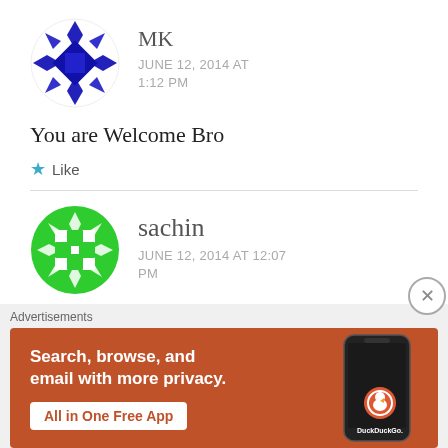[Figure (illustration): Blue geometric/diamond-pattern circular avatar for user MK]
MK
JUNE 12, 2014 AT 1:12 PM
You are Welcome Bro
★ Like
[Figure (illustration): Green geometric/diamond-pattern circular avatar for user sachin]
sachin
JUNE 12, 2014 AT 12:07 PM
Advertisements
[Figure (screenshot): DuckDuckGo advertisement banner: Search, browse, and email with more privacy. All in One Free App. DuckDuckGo logo on phone mockup.]